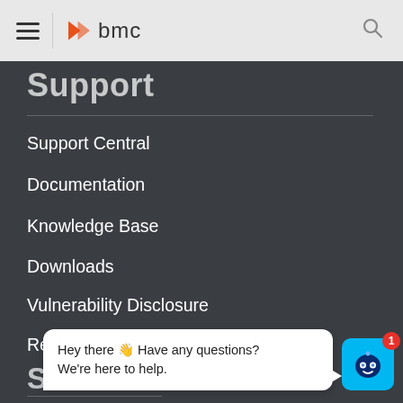bmc
Support
Support Central
Documentation
Knowledge Base
Downloads
Vulnerability Disclosure
Resources
Socia
Hey there 👋 Have any questions? We're here to help.